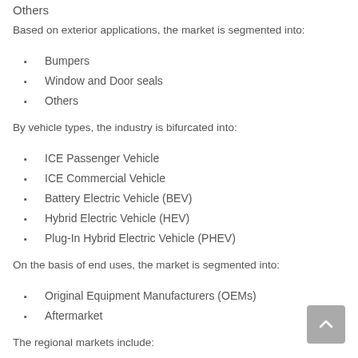Others
Based on exterior applications, the market is segmented into:
Bumpers
Window and Door seals
Others
By vehicle types, the industry is bifurcated into:
ICE Passenger Vehicle
ICE Commercial Vehicle
Battery Electric Vehicle (BEV)
Hybrid Electric Vehicle (HEV)
Plug-In Hybrid Electric Vehicle (PHEV)
On the basis of end uses, the market is segmented into:
Original Equipment Manufacturers (OEMs)
Aftermarket
The regional markets include: